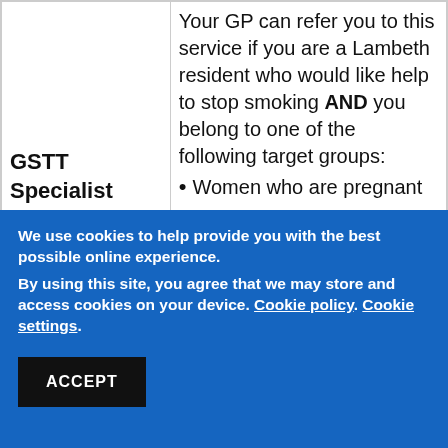| GSTT Specialist Stop | Your GP can refer you to this service if you are a Lambeth resident who would like help to stop smoking AND you belong to one of the following target groups:
• Women who are pregnant |
We use cookies to help provide you with the best possible online experience.
By using this site, you agree that we may store and access cookies on your device. Cookie policy. Cookie settings.